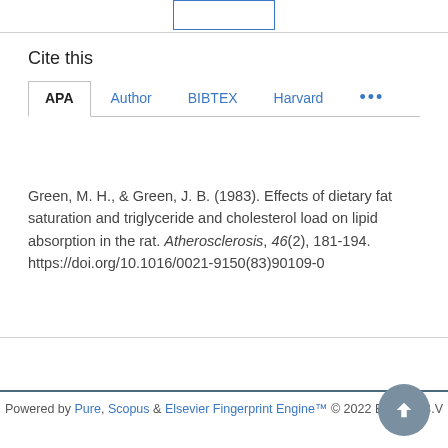Cite this
Green, M. H., & Green, J. B. (1983). Effects of dietary fat saturation and triglyceride and cholesterol load on lipid absorption in the rat. Atherosclerosis, 46(2), 181-194. https://doi.org/10.1016/0021-9150(83)90109-0
Powered by Pure, Scopus & Elsevier Fingerprint Engine™ © 2022 Elsevier B.V